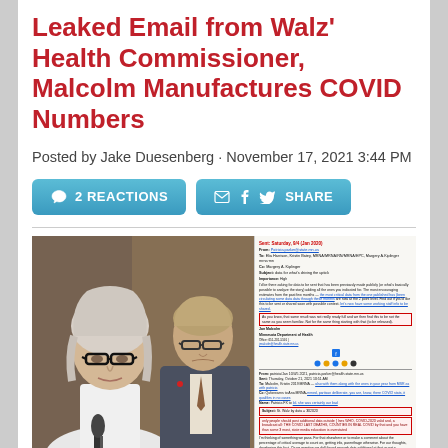Leaked Email from Walz' Health Commissioner, Malcolm Manufactures COVID Numbers
Posted by Jake Duesenberg · November 17, 2021 3:44 PM
[Figure (screenshot): Two social sharing buttons: '2 REACTIONS' and 'SHARE' with email, Facebook, and Twitter icons, both styled as teal/blue rounded buttons.]
[Figure (photo): Composite image: left side shows a photo of an older woman with black-rimmed glasses and a man with glasses and a suit standing behind her at microphones; right side shows a scanned email document with some text highlighted in red boxes.]
Recently leaked emails between Walz' Dept of Health Commissioner Jan Malcom and his chief